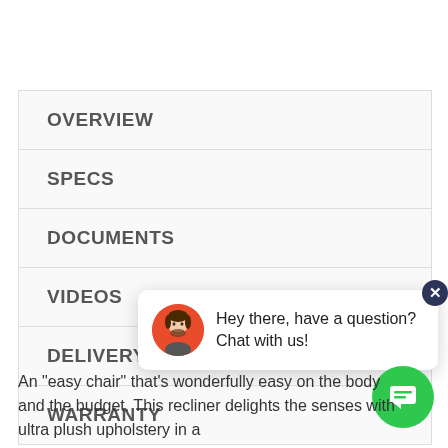OVERVIEW
SPECS
DOCUMENTS
VIDEOS
DELIVERY
WARRANTY
[Figure (illustration): Chat widget popup with avatar of a person, text 'Hey there, have a question? Chat with us!' and a green chat button]
An "easy chair" that's wonderfully easy on the body and the budget. This recliner delights the senses with ultra plush upholstery in a